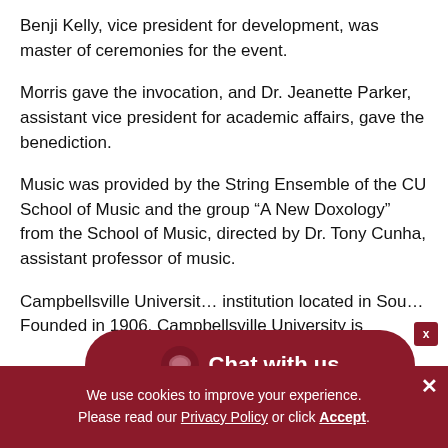Benji Kelly, vice president for development, was master of ceremonies for the event.
Morris gave the invocation, and Dr. Jeanette Parker, assistant vice president for academic affairs, gave the benediction.
Music was provided by the String Ensemble of the CU School of Music and the group “A New Doxology” from the School of Music, directed by Dr. Tony Cunha, assistant professor of music.
Campbellsville Universit… institution located in Sou… Founded in 1906, Campbellsville University is
[Figure (infographic): Chat with us button overlay with speech bubble icon on dark red/maroon background with rounded corners. An X close button appears in the top right corner.]
We use cookies to improve your experience. Please read our Privacy Policy or click Accept.